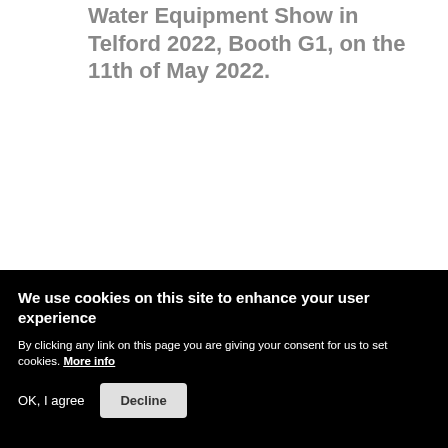Water Equipment Show in Telford 2022, Booth G1, on the 11th of May 2022.
READ MORE
We use cookies on this site to enhance your user experience
By clicking any link on this page you are giving your consent for us to set cookies. More info
OK, I agree   Decline